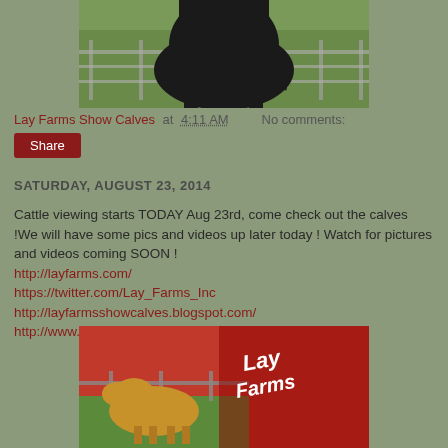[Figure (photo): Black bull standing in a green grassy field with a fence behind it, viewed from behind/side]
Lay Farms Show Calves at 4:11 AM    No comments:
Share
SATURDAY, AUGUST 23, 2014
Cattle viewing starts TODAY Aug 23rd, come check out the calves !We will have some pics and videos up later today ! Watch for pictures and videos coming SOON !
http://layfarms.com/
https://twitter.com/Lay_Farms_Inc
http://layfarmsshowcalves.blogspot.com/
http://www.riddleandco.com/.
[Figure (photo): A tan/golden calf in a green field with a red background banner showing Lay Farms logo/text]